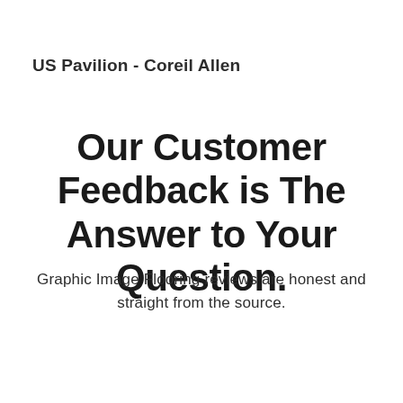US Pavilion - Coreil Allen
Our Customer Feedback is The Answer to Your Question.
Graphic Image Flooring reviews are honest and straight from the source.